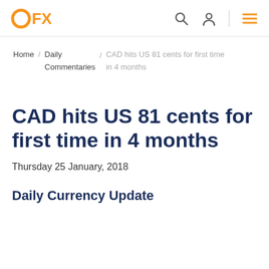OFX — navigation header with search, account, and menu icons
Home / Daily Commentaries / CAD hits US 81 cents for first time in 4 months
CAD hits US 81 cents for first time in 4 months
Thursday 25 January, 2018
Daily Currency Update